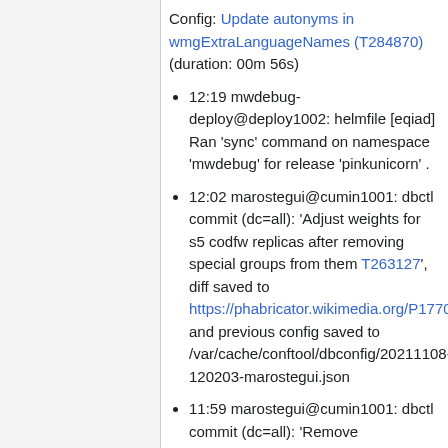Config: Update autonyms in wmgExtraLanguageNames (T284870) (duration: 00m 56s)
12:19 mwdebug-deploy@deploy1002: helmfile [eqiad] Ran 'sync' command on namespace 'mwdebug' for release 'pinkunicorn' .
12:02 marostegui@cumin1001: dbctl commit (dc=all): 'Adjust weights for s5 codfw replicas after removing special groups from them T263127', diff saved to https://phabricator.wikimedia.org/P17708 and previous config saved to /var/cache/conftool/dbconfig/20211108-120203-marostegui.json
11:59 marostegui@cumin1001: dbctl commit (dc=all): 'Remove contributions logpager recentchanges recentchangeslinked